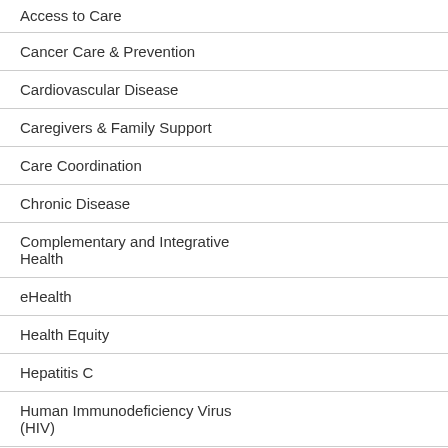Access to Care
Cancer Care & Prevention
Cardiovascular Disease
Caregivers & Family Support
Care Coordination
Chronic Disease
Complementary and Integrative Health
eHealth
Health Equity
Hepatitis C
Human Immunodeficiency Virus (HIV)
Homelessness
Implementation Science
understanding of the physical a... during deployment. These hea... trauma, traumatic brain injury, ...
VA health services research ac... services, use or non-use of VA...
Each "widget" below is populat... databases. Search results are ... Results are updated regularly, ...
VIEW: Citations | Publication B... Cyberseminars | Videos | Podc...
Citations (5...
McGlynn G, Hecht MI, H... Development: Post-De...